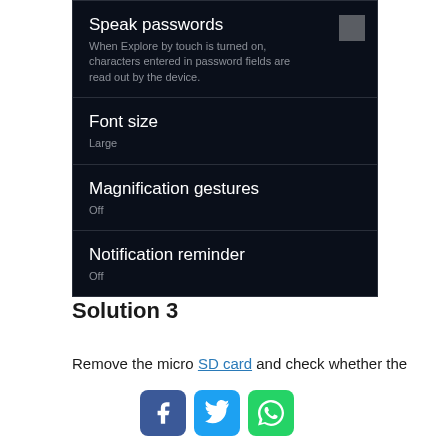[Figure (screenshot): Android settings screenshot showing accessibility options: Speak passwords (with description text and toggle checkbox), Font size (Large), Magnification gestures (Off), Notification reminder (Off)]
Solution 3
Remove the micro SD card and check whether the
[Figure (other): Social sharing buttons: Facebook (blue), Twitter (light blue), WhatsApp (green)]